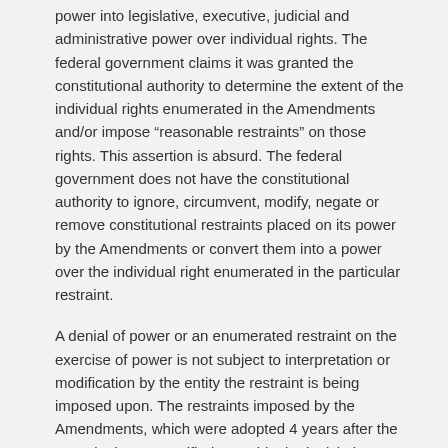power into legislative, executive, judicial and administrative power over individual rights. The federal government claims it was granted the constitutional authority to determine the extent of the individual rights enumerated in the Amendments and/or impose “reasonable restraints” on those rights. This assertion is absurd. The federal government does not have the constitutional authority to ignore, circumvent, modify, negate or remove constitutional restraints placed on its power by the Amendments or convert them into a power over the individual right enumerated in the particular restraint.
A denial of power or an enumerated restraint on the exercise of power is not subject to interpretation or modification by the entity the restraint is being imposed upon. The restraints imposed by the Amendments, which were adopted 4 years after the Constitution was ratified, override the legislative, executive, judicial or administrative